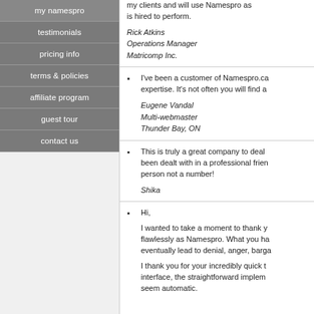my namespro
testimonials
pricing info
terms & policies
affiliate program
guest tour
contact us
my clients and will use Namespro as is hired to perform.
Rick Atkins
Operations Manager
Matricomp Inc.
I've been a customer of Namespro.ca expertise. It's not often you will find a
Eugene Vandal
Multi-webmaster
Thunder Bay, ON
This is truly a great company to deal been dealt with in a professional frien person not a number!
Shika
Hi,
I wanted to take a moment to thank y flawlessly as Namespro. What you ha eventually lead to denial, anger, barga
I thank you for your incredibly quick t interface, the straightforward implem seem automatic.